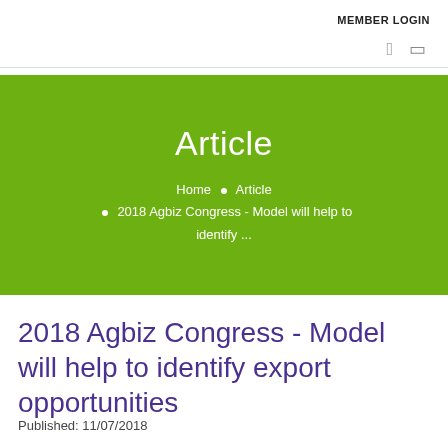MEMBER LOGIN
Article
Home • Article • 2018 Agbiz Congress - Model will help to identify ...
2018 Agbiz Congress - Model will help to identify export opportunities
Published: 11/07/2018